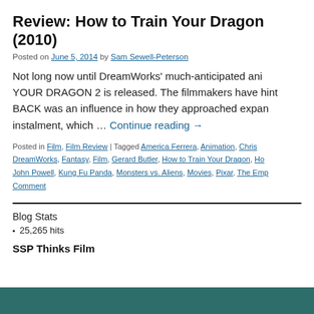Review: How to Train Your Dragon (2010)
Posted on June 5, 2014 by Sam Sewell-Peterson
Not long now until DreamWorks' much-anticipated ani… YOUR DRAGON 2 is released. The filmmakers have hint… BACK was an influence in how they approached expan… instalment, which … Continue reading →
Posted in Film, Film Review | Tagged America Ferrera, Animation, Chris…, DreamWorks, Fantasy, Film, Gerard Butler, How to Train Your Dragon, Ho…, John Powell, Kung Fu Panda, Monsters vs. Aliens, Movies, Pixar, The Emp… Comment
Blog Stats
25,265 hits
SSP Thinks Film